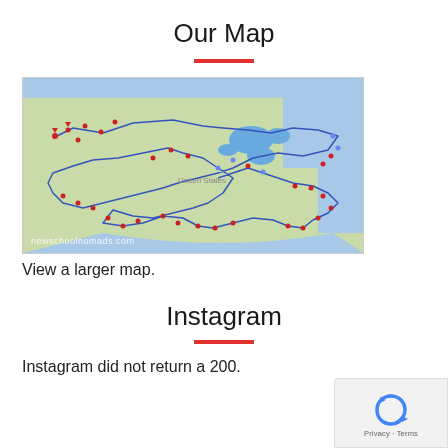Our Map
[Figure (map): A Google Map of the United States showing a travel route with blue lines connecting numerous red pin markers across the country, with the watermark 'newschoolnomads.com' at the bottom left.]
View a larger map.
Instagram
Instagram did not return a 200.